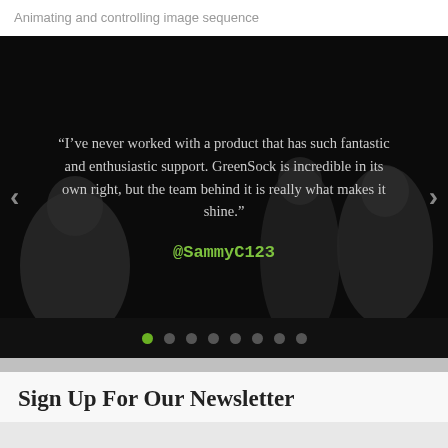Animating and controlling image sequence
[Figure (screenshot): Dark-themed testimonial slider with a quote from @SammyC123 overlaid on a photo of people, with left/right navigation arrows and dot indicators]
“I’ve never worked with a product that has such fantastic and enthusiastic support. GreenSock is incredible in its own right, but the team behind it is really what makes it shine.”
@SammyC123
Sign Up For Our Newsletter